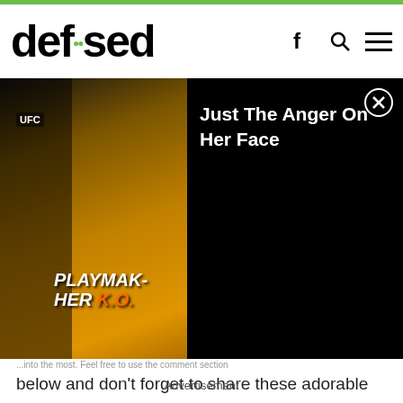defused
[Figure (screenshot): Popup overlay with UFC/fighting promotional image on left showing 'PLAYMAK-HER K.O.' text, and black panel on right with text 'Just The Anger On Her Face' and a close button]
...into the most. Feel free to use the comment section below and don't forget to share these adorable pictures!
[Figure (illustration): Generic user avatar circle with green bar, under grey section]
Advertisement
Author: Saif
Advertisement